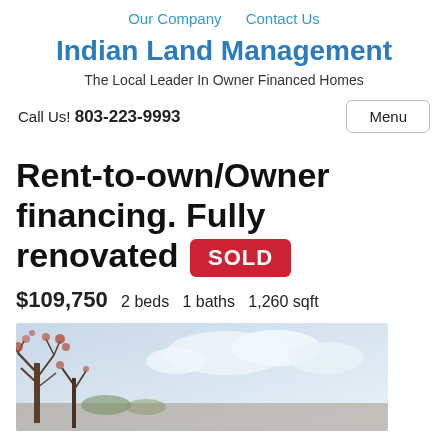Our Company   Contact Us
Indian Land Management
The Local Leader In Owner Financed Homes
Call Us! 803-223-9993
Menu
Rent-to-own/Owner financing. Fully renovated SOLD
$109,750   2 beds   1 baths   1,260 sqft
[Figure (photo): Exterior photo of a renovated home with trees in the foreground and a partly cloudy sky]